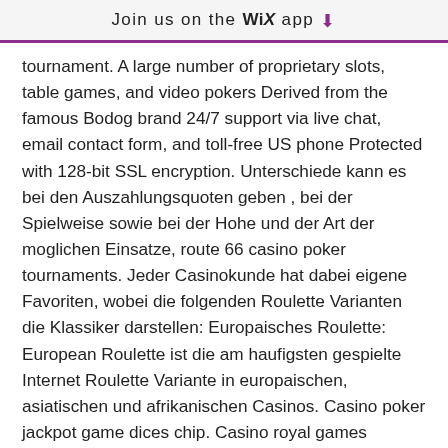Join us on the WiX app ⬇
tournament. A large number of proprietary slots, table games, and video pokers Derived from the famous Bodog brand 24/7 support via live chat, email contact form, and toll-free US phone Protected with 128-bit SSL encryption. Unterschiede kann es bei den Auszahlungsquoten geben , bei der Spielweise sowie bei der Hohe und der Art der moglichen Einsatze, route 66 casino poker tournaments. Jeder Casinokunde hat dabei eigene Favoriten, wobei die folgenden Roulette Varianten die Klassiker darstellen: Europaisches Roulette: European Roulette ist die am haufigsten gespielte Internet Roulette Variante in europaischen, asiatischen und afrikanischen Casinos. Casino poker jackpot game dices chip. Casino royal games design, casino bonus uk 2022. Borgata Bonus Code - MAXPROMOBOR - $1020 Casino Offer.